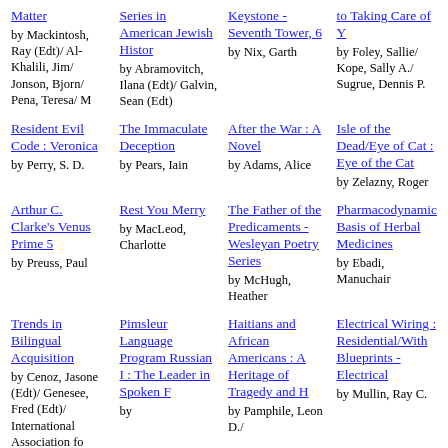Matter by Mackintosh, Ray (Edt)/ Al-Khalili, Jim/ Jonson, Bjorn/ Pena, Teresa/ M
Series in American Jewish Histor by Abramovitch, Ilana (Edt)/ Galvin, Sean (Edt)
Keystone - Seventh Tower, 6 by Nix, Garth
to Taking Care of Y by Foley, Sallie/ Kope, Sally A./ Sugrue, Dennis P.
Resident Evil Code : Veronica by Perry, S. D.
The Immaculate Deception by Pears, Iain
After the War : A Novel by Adams, Alice
Isle of the Dead/Eye of Cat : Eye of the Cat by Zelazny, Roger
Arthur C. Clarke's Venus Prime 5 by Preuss, Paul
Rest You Merry by MacLeod, Charlotte
The Father of the Predicaments - Wesleyan Poetry Series by McHugh, Heather
Pharmacodynamic Basis of Herbal Medicines by Ebadi, Manuchair
Trends in Bilingual Acquisition by Cenoz, Jasone (Edt)/ Genesee, Fred (Edt)/ International Association fo
Pimsleur Language Program Russian I : The Leader in Spoken F by
Haitians and African Americans : A Heritage of Tragedy and H by Pamphile, Leon D./
Electrical Wiring : Residential/With Blueprints - Electrical by Mullin, Ray C.